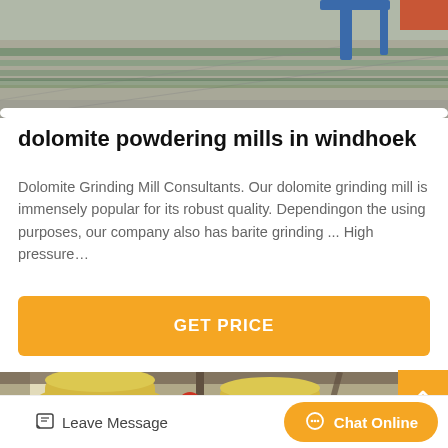[Figure (photo): Top-down view of industrial conveyor or sorting equipment with blue metal frames on a factory floor]
dolomite powdering mills in windhoek
Dolomite Grinding Mill Consultants. Our dolomite grinding mill is immensely popular for its robust quality. Dependingon the using purposes, our company also has barite grinding ... High pressure…
GET PRICE
[Figure (photo): Industrial factory interior showing large yellow grinding mill machines, with a worker wearing a red hard hat walking among the equipment]
Leave Message
Chat Online